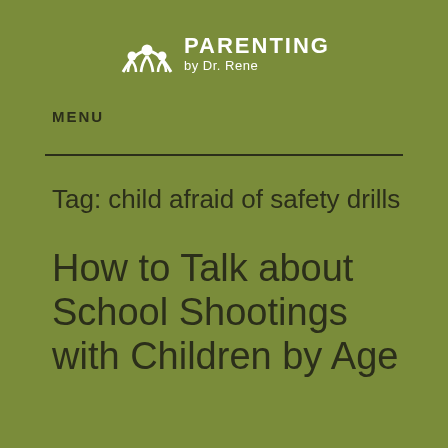[Figure (logo): Parenting by Dr. Rene logo with stylized figures icon and white text]
MENU
Tag: child afraid of safety drills
How to Talk about School Shootings with Children by Age